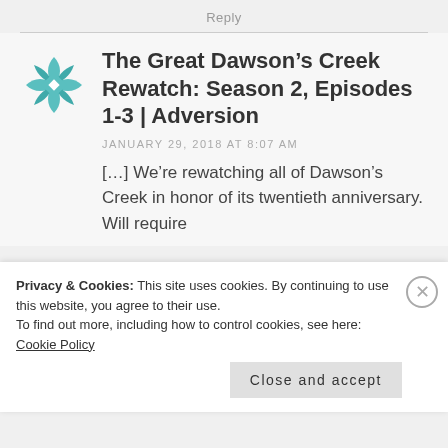Reply
The Great Dawson's Creek Rewatch: Season 2, Episodes 1-3 | Adversion
JANUARY 29, 2018 AT 8:07 AM
[…] We're rewatching all of Dawson's Creek in honor of its twentieth anniversary. Will require
Privacy & Cookies: This site uses cookies. By continuing to use this website, you agree to their use. To find out more, including how to control cookies, see here: Cookie Policy
Close and accept